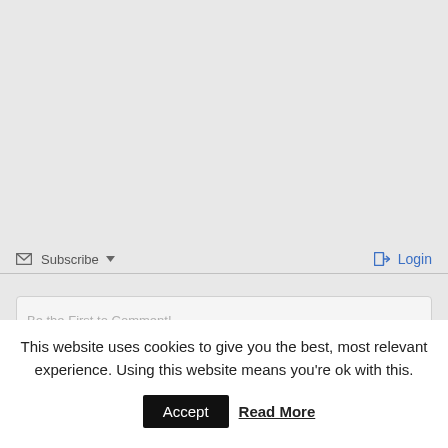✉ Subscribe ▼
➔ Login
Be the First to Comment!
This website uses cookies to give you the best, most relevant experience. Using this website means you're ok with this.
Accept
Read More